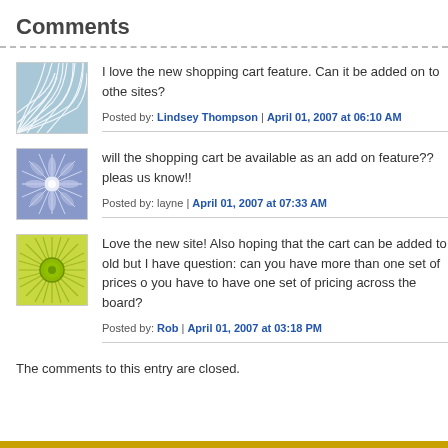Comments
I love the new shopping cart feature. Can it be added on to other sites?
Posted by: Lindsey Thompson | April 01, 2007 at 06:10 AM
will the shopping cart be available as an add on feature?? please let us know!!
Posted by: layne | April 01, 2007 at 07:33 AM
Love the new site! Also hoping that the cart can be added to old sites, but I have question: can you have more than one set of prices or do you have to have one set of pricing across the board?
Posted by: Rob | April 01, 2007 at 03:18 PM
The comments to this entry are closed.